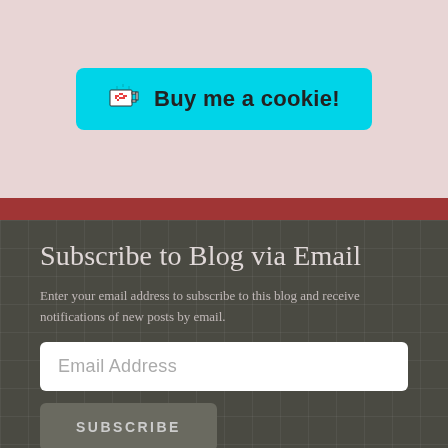[Figure (other): Cyan rounded button with a pixel-art coffee cup icon with a heart, labeled 'Buy me a cookie!' on a pale pink/rose background]
Subscribe to Blog via Email
Enter your email address to subscribe to this blog and receive notifications of new posts by email.
[Figure (other): Email Address input field (white rounded rectangle with placeholder text 'Email Address')]
[Figure (other): Subscribe button (gray rounded rectangle with 'SUBSCRIBE' in uppercase letters)]
Join 665 other subscribers